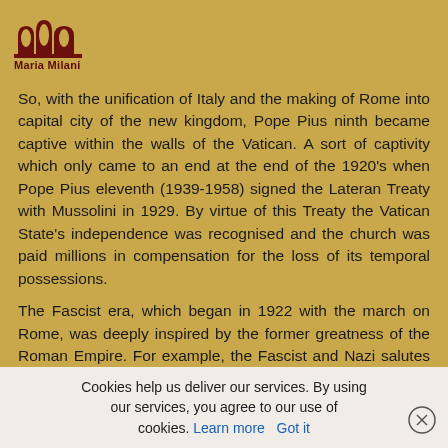Maria Milani
So, with the unification of Italy and the making of Rome into capital city of the new kingdom, Pope Pius ninth became captive within the walls of the Vatican. A sort of captivity which only came to an end at the end of the 1920's when Pope Pius eleventh (1939-1958) signed the Lateran Treaty with Mussolini in 1929. By virtue of this Treaty the Vatican State's independence was recognised and the church was paid millions in compensation for the loss of its temporal possessions.
The Fascist era, which began in 1922 with the march on Rome, was deeply inspired by the former greatness of the Roman Empire. For example, the Fascist and Nazi salutes were direct
Cookies help us deliver our services. By using our services, you agree to our use of cookies. Learn more Got it